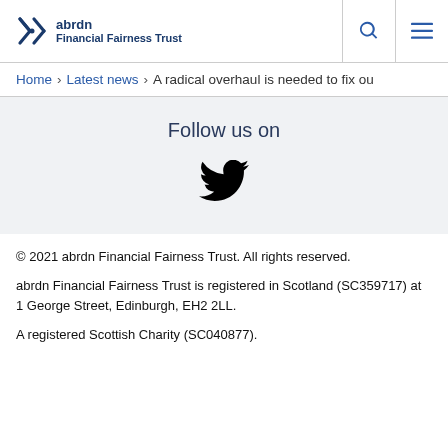abrdn Financial Fairness Trust
Home > Latest news > A radical overhaul is needed to fix ou
Follow us on
[Figure (illustration): Twitter bird logo icon in black]
© 2021 abrdn Financial Fairness Trust. All rights reserved.

abrdn Financial Fairness Trust is registered in Scotland (SC359717) at 1 George Street, Edinburgh, EH2 2LL.

A registered Scottish Charity (SC040877).